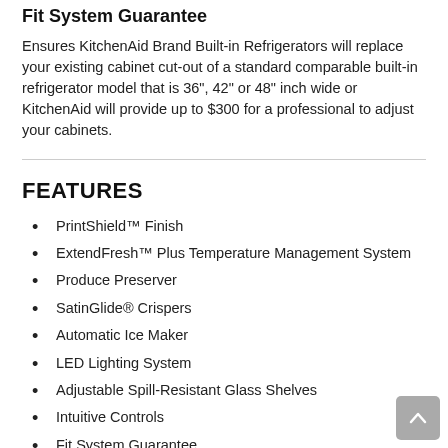Fit System Guarantee
Ensures KitchenAid Brand Built-in Refrigerators will replace your existing cabinet cut-out of a standard comparable built-in refrigerator model that is 36", 42" or 48" inch wide or KitchenAid will provide up to $300 for a professional to adjust your cabinets.
FEATURES
PrintShield™ Finish
ExtendFresh™ Plus Temperature Management System
Produce Preserver
SatinGlide® Crispers
Automatic Ice Maker
LED Lighting System
Adjustable Spill-Resistant Glass Shelves
Intuitive Controls
Fit System Guarantee